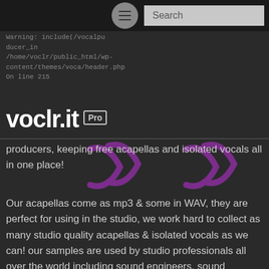Search
Warning: include(/vocalpu
ducer_in
/home/voclr/public_html/wp-content/themes/voca/header.php
On line 215
voclr.it Pro
producers, keeping free acapellas and isolated vocals all in one place!
Our acapellas come as mp3 & some in WAV, they are perfect for using in the studio, we work hard to collect as many studio quality acapellas & isolated vocals as we can! our samples are used by studio professionals all over the world including sound engineers, sound designers, students in music production and sound engineering schools and classes, bedroom producers, world famous DJ's and many more.